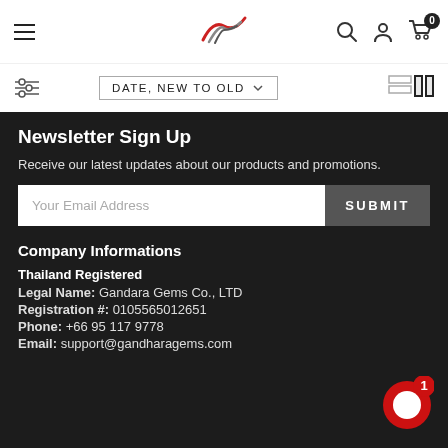Navigation bar with hamburger menu, logo, search, account, and cart icons
DATE, NEW TO OLD
Newsletter Sign Up
Receive our latest updates about our products and promotions.
Your Email Address
SUBMIT
Company Informations
Thailand Registered
Legal Name: Gandara Gems Co., LTD
Registration #: 0105565012651
Phone: +66 95 117 9778
Email: support@gandharagems.com